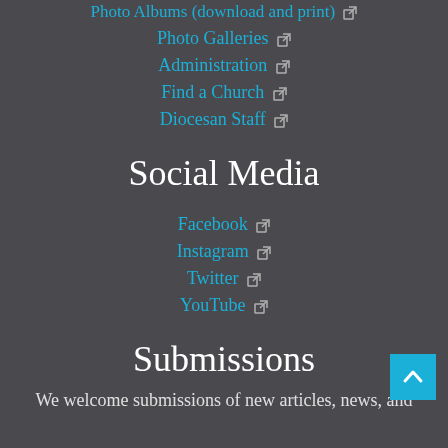Photo Albums (download and print) ↗
Photo Galleries ↗
Administration ↗
Find a Church ↗
Diocesan Staff ↗
Social Media
Facebook ↗
Instagram ↗
Twitter ↗
YouTube ↗
Submissions
We welcome submissions of new articles, news, and